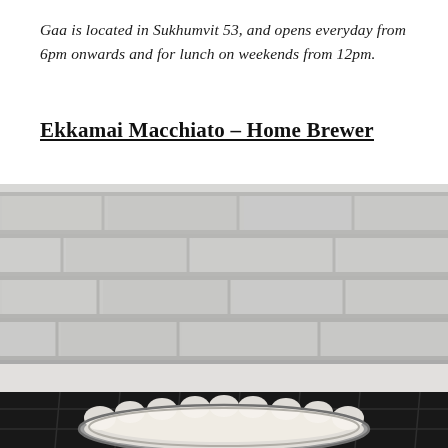Gaa is located in Sukhumvit 53, and opens everyday from 6pm onwards and for lunch on weekends from 12pm.
Ekkamai Macchiato – Home Brewer
[Figure (photo): Photo of a bowl of cream or frosting on a dark checkered cloth in front of a white brick wall background]